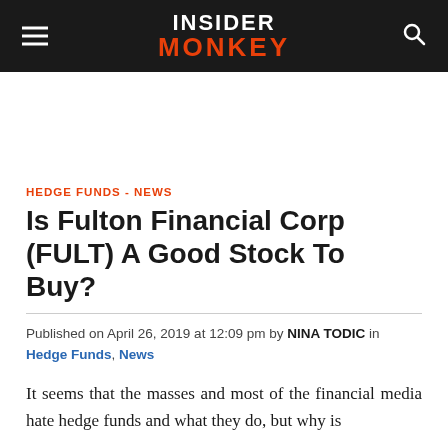INSIDER MONKEY
HEDGE FUNDS - NEWS
Is Fulton Financial Corp (FULT) A Good Stock To Buy?
Published on April 26, 2019 at 12:09 pm by NINA TODIC in Hedge Funds, News
It seems that the masses and most of the financial media hate hedge funds and what they do, but why is